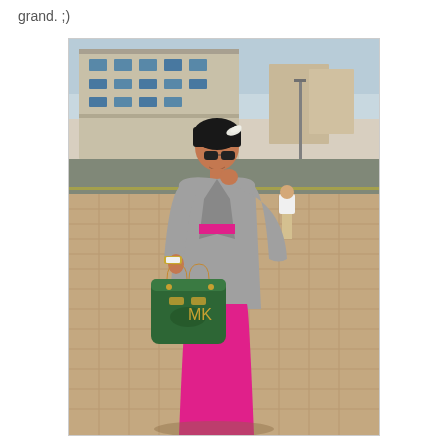grand. ;)
[Figure (photo): A woman standing outdoors in an urban setting, wearing a grey blazer over a bright pink/magenta maxi dress and carrying a green handbag. She has dark short hair with a white feather hair accessory and dark sunglasses, and is smiling over her shoulder. In the background is a street with buildings and another person walking away.]